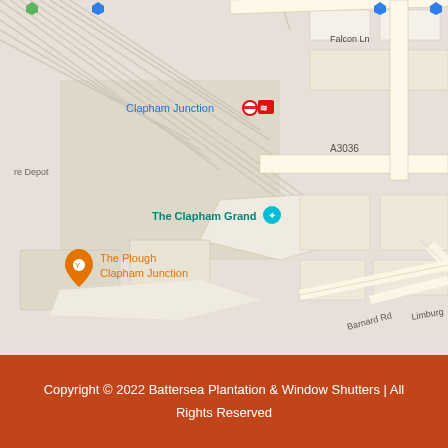[Figure (map): Google Maps screenshot showing Clapham Junction area in London. Visible landmarks include Clapham Junction station, The Clapham Grand venue, McDonald's, Marks and Spencer, The Plough Clapham Junction pub, and Psycle Clapham. Roads shown include A3036, Falcon Ln, Barnard Rd, Limburg, and Comyn Rd.]
Copyright © 2022 Battersea Plantation & Window Shutters | All Rights Reserved